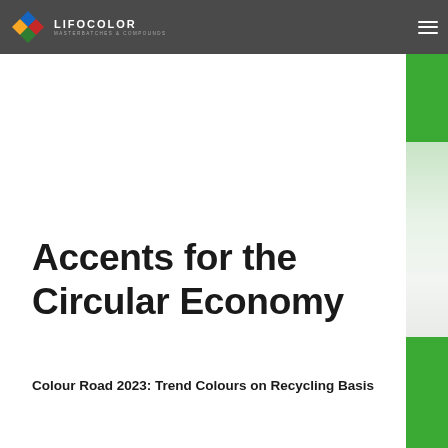LIFOCOLOR MASTERBATCHES & COMPOUNDS
Accents for the Circular Economy
Colour Road 2023: Trend Colours on Recycling Basis